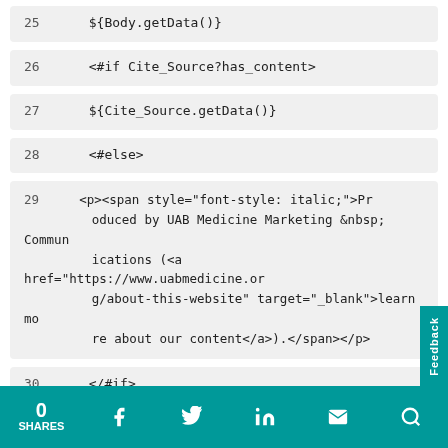25    ${Body.getData()}
26    <#if Cite_Source?has_content>
27    ${Cite_Source.getData()}
28    <#else>
29    <p><span style="font-style: italic;">Produced by UAB Medicine Marketing &nbsp; Communications (<a href="https://www.uabmedicine.org/about-this-website" target="_blank">learn more about our content</a>).</span></p>
30    </#if>
31    <br/><meta content="https://www.uabmedic
0 SHARES